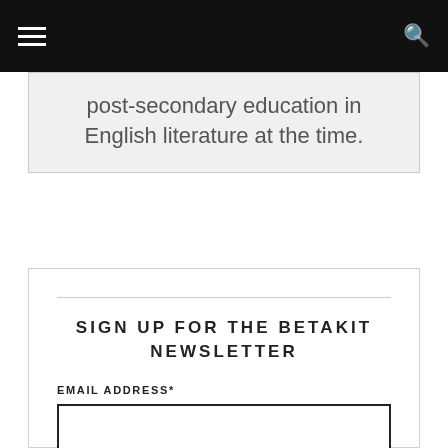post-secondary education in English literature at the time.
SIGN UP FOR THE BETAKIT NEWSLETTER
EMAIL ADDRESS*
FIRST NAME